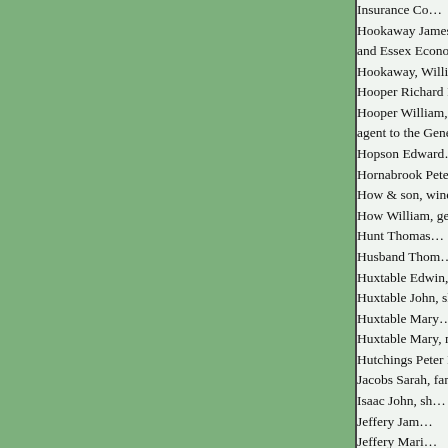Insurance Co...
Hookaway James, boot and shoe m... and Essex Econom...
Hookaway, Willi...
Hooper Richard E., bo...
Hooper William, furniture dealer... agent to the Genera...
Hopson Edward...
Hornabrook Peter,...
How & son, wine and s...
How William, ge...
Hunt Thomas...
Husband Thom...
Huxtable Edwin, cloth...
Huxtable John, sh...
Huxtable Mary...
Huxtable Mary, milliner and...
Hutchings Peter H., cooper, tea de...
Jacobs Sarah, fanc...
Isaac John, sh...
Jeffery Jam...
Jeffery Mari...
Jenkins Henry, beer retaile...
Jenkins John,...
Jenkins Thomas, bo...